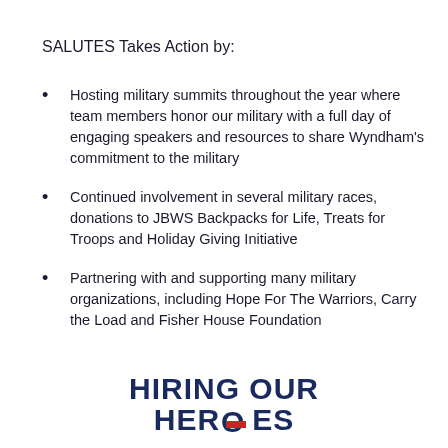SALUTES Takes Action by:
Hosting military summits throughout the year where team members honor our military with a full day of engaging speakers and resources to share Wyndham's commitment to the military
Continued involvement in several military races, donations to JBWS Backpacks for Life, Treats for Troops and Holiday Giving Initiative
Partnering with and supporting many military organizations, including Hope For The Warriors, Carry the Load and Fisher House Foundation
[Figure (logo): HIRING OUR HEROES logo with bold dark navy text, the letter O in HEROES replaced by a red stripe graphic]